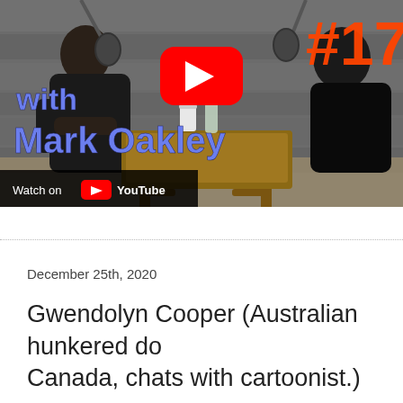[Figure (screenshot): YouTube video thumbnail showing two people sitting at a wooden table in a podcast studio setting. Text overlay reads 'with Mark Oakley' in bold blue/purple font with a YouTube play button. Episode number #17 partially visible top right. Bottom left shows 'Watch on YouTube' bar.]
December 25th, 2020
Gwendolyn Cooper (Australian hunkered down in Canada, chats with cartoonist.)